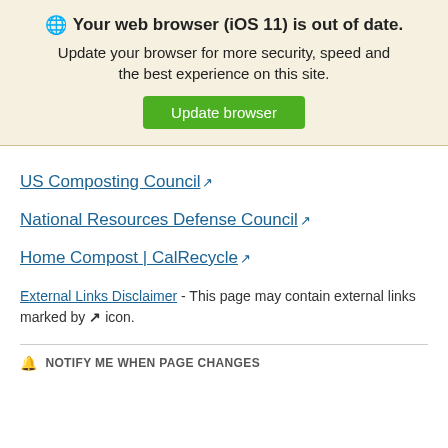🌐 Your web browser (iOS 11) is out of date. Update your browser for more security, speed and the best experience on this site. [Update browser]
US Composting Council ↗
National Resources Defense Council ↗
Home Compost | CalRecycle ↗
External Links Disclaimer - This page may contain external links marked by ↗ icon.
🔔 NOTIFY ME WHEN PAGE CHANGES